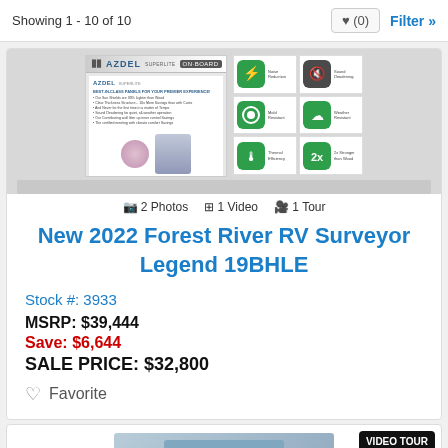Showing 1 - 10 of 10
[Figure (screenshot): Screenshot of an RV listing page showing AZDEL product brochure thumbnail images with icon grids]
2 Photos  1 Video  1 Tour
New 2022 Forest River RV Surveyor Legend 19BHLE
Stock #: 3933
MSRP: $39,444
Save: $6,644
SALE PRICE: $32,800
Favorite
[Figure (photo): Bottom portion of next listing card with VIDEO TOUR badge]